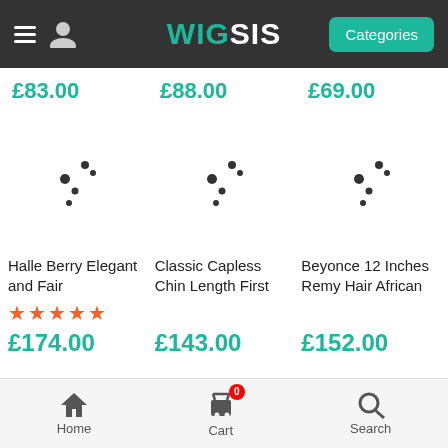[Figure (screenshot): WigSis e-commerce website navigation bar with hamburger menu, user icon, WIGSIS logo in teal/white, and teal Categories button]
£83.00
£88.00
£69.00
[Figure (other): Loading spinner animation dots for product image placeholder - column 1]
[Figure (other): Loading spinner animation dots for product image placeholder - column 2]
[Figure (other): Loading spinner animation dots for product image placeholder - column 3]
Halle Berry Elegant and Fair
Classic Capless Chin Length First
Beyonce 12 Inches Remy Hair African
★★★★★
£174.00
£143.00
£152.00
Home
Cart
Search